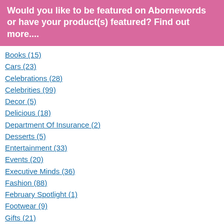Would you like to be featured on Abornewords or have your product(s) featured? Find out more....
Books (15)
Cars (23)
Celebrations (28)
Celebrities (99)
Decor (5)
Delicious (18)
Department Of Insurance (2)
Desserts (5)
Entertainment (33)
Events (20)
Executive Minds (36)
Fashion (88)
February Spotlight (1)
Footwear (9)
Gifts (21)
Green Mission (1)
Hair Accessories (1)
Hair Treatments (5)
Health (41)
InstagramFeedBuzz (2)
Make Up (12)
Models (4)
Movies (43)
Music (114)
Nail Color (5)
Nutrition (10)
Olympians (1)